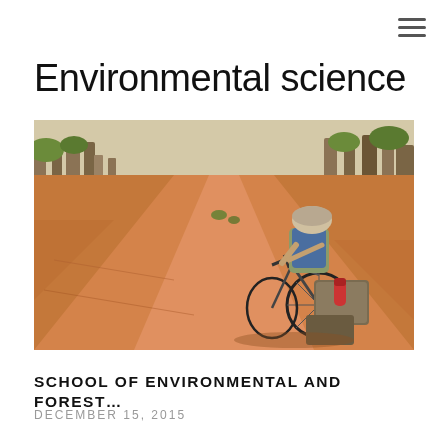≡
Environmental science
[Figure (photo): A cyclist riding a loaded touring bicycle on a dusty red dirt road through sparse dry woodland/savanna, viewed from behind. The rider wears a helmet, blue vest, and carries large panniers. Shadows fall across the orange-red dirt road. Dry trees line both sides of the track.]
SCHOOL OF ENVIRONMENTAL AND FOREST...
DECEMBER 15, 2015